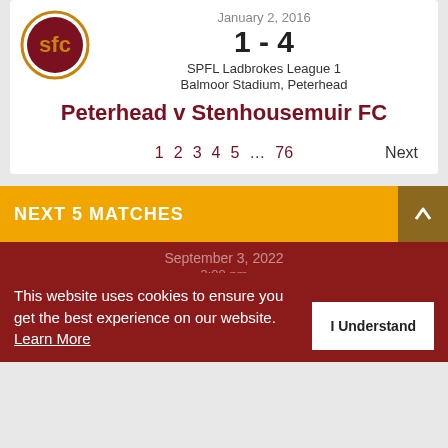[Figure (logo): SFC (Stenhousemuir FC) circular logo with maroon and gold colors]
January 2, 2016
1 - 4
SPFL Ladbrokes League 1
Balmoor Stadium, Peterhead
Peterhead v Stenhousemuir FC
1  2  3  4  5  …  76    Next
NEXT 5 MATCHES
September 3, 2022
3:00 pm
SPFL Cinch League 1
Ochilview Park
This website uses cookies to ensure you get the best experience on our website.  Learn More
I Understand